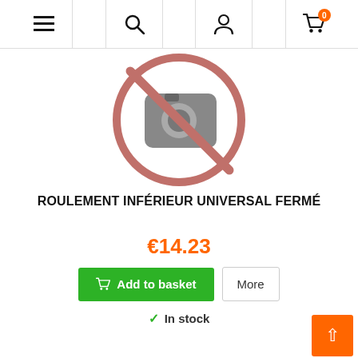Navigation bar with menu, search, account, and cart (0 items) icons
[Figure (illustration): No image available placeholder: grey camera icon with a red crossed-out circle overlay]
ROULEMENT INFÉRIEUR UNIVERSAL FERMÉ
€14.23
Add to basket   More
✓ In stock